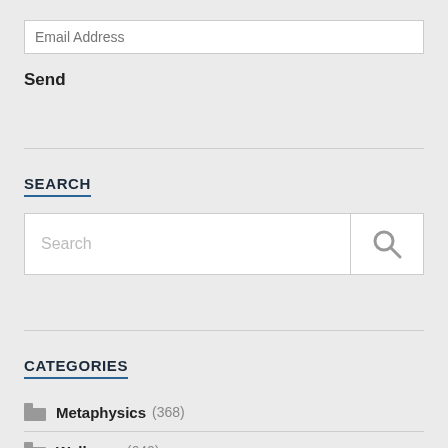Email Address
Send
SEARCH
Search
CATEGORIES
Metaphysics (368)
Wellness (640)